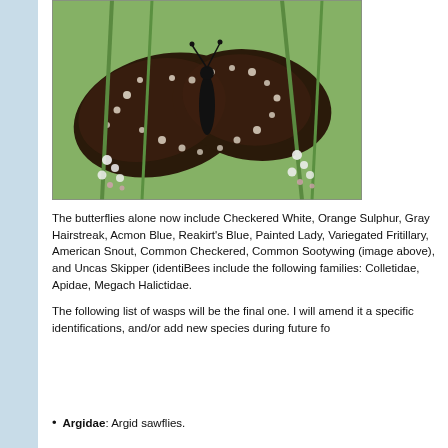[Figure (photo): Close-up photograph of a dark brown/black butterfly (Common Sootywing) with white spots on its wings, resting on white flowering plant branches against a green background.]
The butterflies alone now include Checkered White, Orange Sulphur, Gray Hairstreak, Acmon Blue, Reakirt's Blue, Painted Lady, Variegated Fritillary, American Snout, Common Checkered, Common Sootywing (image above), and Uncas Skipper (identi... Bees include the following families: Colletidae, Apidae, Megach... Halictidae.
The following list of wasps will be the final one. I will amend it a... specific identifications, and/or add new species during future fo...
Argidae: Argid sawflies.